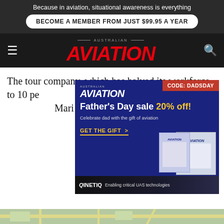Because in aviation, situational awareness is everything
BECOME A MEMBER FROM JUST $99.95 A YEAR
[Figure (logo): Australian Aviation magazine logo with red italic AVIATION text]
The tour company, which has halved its workforce to 10 pe... condu... Mari...
[Figure (advertisement): Australian Aviation Father's Day sale ad: 20% off with code DADSDAY, GET THE GIFT, shows magazine covers]
[Figure (advertisement): QinetiQ - Enabling critical UAS technologies banner ad]
[Figure (map): Map strip at bottom of page]